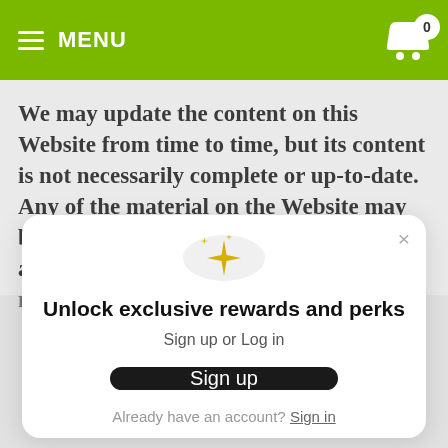MENU
We may update the content on this Website from time to time, but its content is not necessarily complete or up-to-date. Any of the material on the Website may be out of date at any given time, and we are under no obligation to update such material.
[Figure (screenshot): Modal popup with sparkle icon, title 'Unlock exclusive rewards and perks', subtitle 'Sign up or Log in', a black Sign up button, and a footer link 'Already have an account? Sign in']